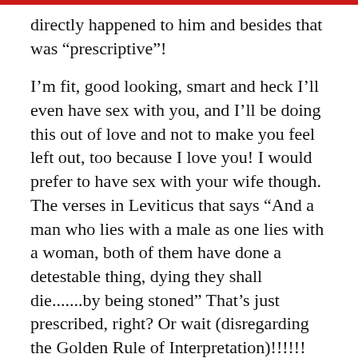directly happened to him and besides that was “prescriptive”!
I’m fit, good looking, smart and heck I’ll even have sex with you, and I’ll be doing this out of love and not to make you feel left out, too because I love you! I would prefer to have sex with your wife though. The verses in Leviticus that says “And a man who lies with a male as one lies with a woman, both of them have done a detestable thing, dying they shall die.......by being stoned” That’s just prescribed, right? Or wait (disregarding the Golden Rule of Interpretation)!!!!!! maybe........ it’s literal prescribed? Yeah, because it’s just referencing two man who are “stoned” (puff puff). Yes